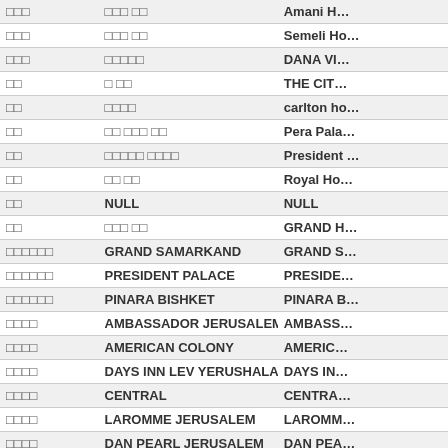| Col1 | Col2 | Col3 |
| --- | --- | --- |
| □□□ | □□□ □□ | Amani H… |
| □□□ | □□□ □□ | Semeli Ho… |
| □□□ | □□□□□ | DANA VI… |
| □□ | □ □□ | THE CIT… |
| □□ | □□□□ | carlton ho… |
| □□ | □□ □□□ □□ | Pera Pala… |
| □□ | □□□□□ □□□□ | President … |
| □□ | □□ □□ | Royal Ho… |
| □□ | NULL | NULL |
| □□ | □□□ □□ | GRAND H… |
| □□□□□□ | GRAND SAMARKAND | GRAND S… |
| □□□□□□ | PRESIDENT PALACE | PRESIDE… |
| □□□□□□ | PINARA BISHKET | PINARA B… |
| □□□□ | AMBASSADOR JERUSALEM | AMBASS… |
| □□□□ | AMERICAN COLONY | AMERIC… |
| □□□□ | DAYS INN LEV YERUSHALAYIM | DAYS IN… |
| □□□□ | CENTRAL | CENTRA… |
| □□□□ | LAROMME JERUSALEM | LAROMM… |
| □□□□ | DAN PEARL JERUSALEM | DAN PEA… |
| □□□□ | CARLTON TEL AVIV | CARLTO… |